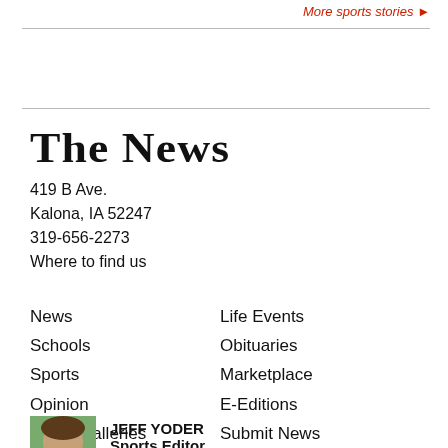More sports stories ▶
[Figure (logo): The News newspaper masthead logo in blackletter/gothic font]
419 B Ave.
Kalona, IA 52247
319-656-2273
Where to find us
News
Schools
Sports
Opinion
Photo Galleries
Calendar
Life Events
Obituaries
Marketplace
E-Editions
Submit News
JEFF YODER
Sports Editor